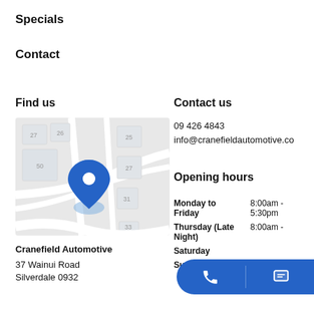Specials
Contact
Find us
[Figure (map): Street map showing location of Cranefield Automotive with a blue location pin marker]
Cranefield Automotive
37 Wainui Road
Silverdale 0932
Contact us
09 426 4843
info@cranefieldautomotive.co
Opening hours
| Day | Hours |
| --- | --- |
| Monday to Friday | 8:00am - 5:30pm |
| Thursday (Late Night) | 8:00am - |
| Saturday |  |
| Sunday | Closed |